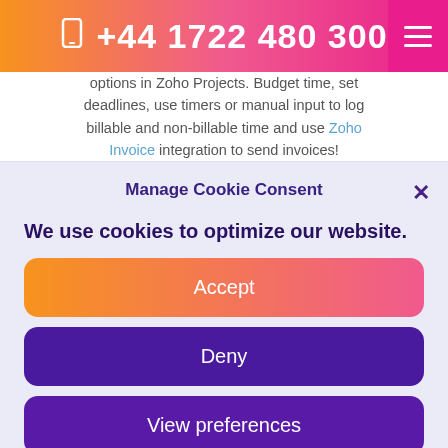+44 1722 480 300
options in Zoho Projects. Budget time, set deadlines, use timers or manual input to log billable and non-billable time and use Zoho Invoice integration to send invoices!
Manage Cookie Consent
We use cookies to optimize our website.
Accept
Deny
View preferences
Cookie Policy  Privacy Policy